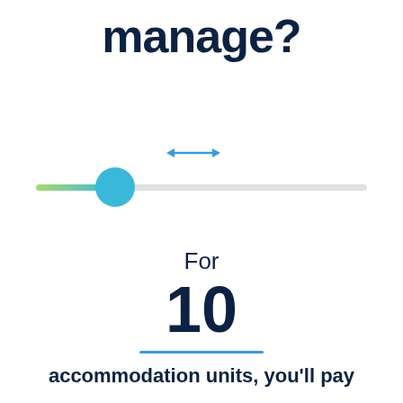manage?
[Figure (infographic): A horizontal slider control with a gradient track from green to blue on the left portion, and a blue circular thumb handle positioned about 25% from the left. A blue double-headed arrow icon appears above the slider indicating it is draggable.]
For
10
accommodation units, you'll pay